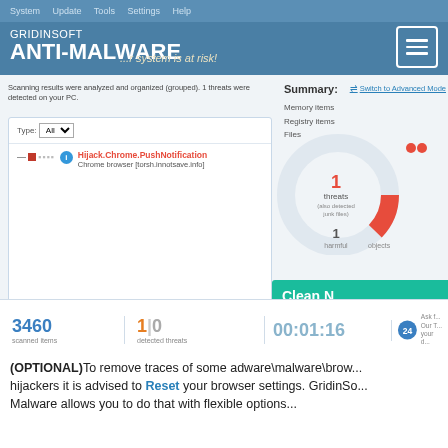[Figure (screenshot): GridinSoft Anti-Malware application screenshot showing scan results with 1 threat detected: Hijack.Chrome.PushNotification from Chrome browser [torsh.innotsave.info]. Summary panel shows 1 threat and 1 harmful object. Stats bar shows 3460 scanned items, 1|0 detected threats, 00:01:16 elapsed time.]
(OPTIONAL)To remove traces of some adware\malware\browser hijackers it is advised to Reset your browser settings. GridinSo...
Malware allows you to do that with flexible options...